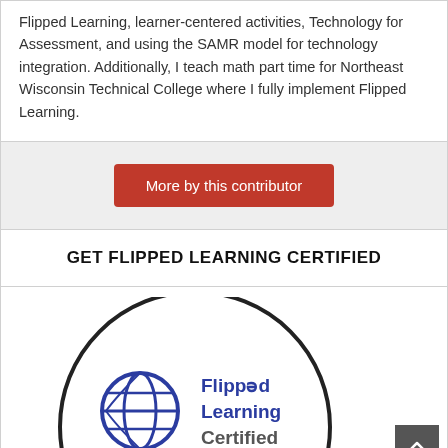Flipped Learning, learner-centered activities, Technology for Assessment, and using the SAMR model for technology integration. Additionally, I teach math part time for Northeast Wisconsin Technical College where I fully implement Flipped Learning.
[Figure (other): Red button labeled 'More by this contributor']
GET FLIPPED LEARNING CERTIFIED
[Figure (logo): Flipped Learning Certified Level I badge/logo — a circular badge with a globe icon, text 'Flipped Learning Certified' in blue, and 'Level - I' in white text on a blue lower half]